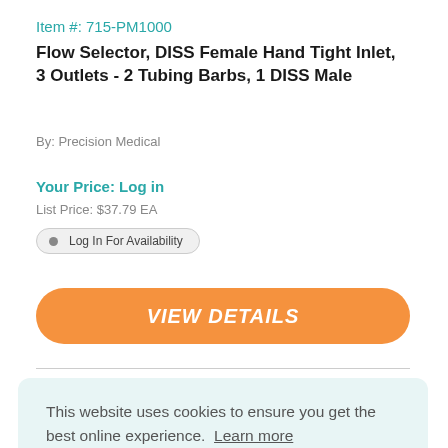Item #: 715-PM1000
Flow Selector, DISS Female Hand Tight Inlet, 3 Outlets - 2 Tubing Barbs, 1 DISS Male
By: Precision Medical
Your Price: Log in
List Price: $37.79 EA
Log In For Availability
VIEW DETAILS
This website uses cookies to ensure you get the best online experience. Learn more
Got it!